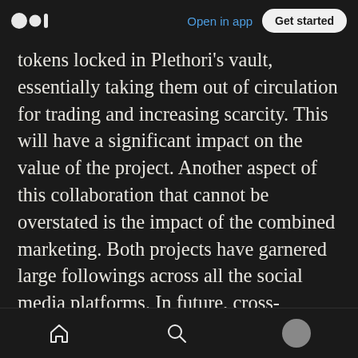Open in app | Get started
tokens locked in Plethori’s vault, essentially taking them out of circulation for trading and increasing scarcity. This will have a significant impact on the value of the project. Another aspect of this collaboration that cannot be overstated is the impact of the combined marketing. Both projects have garnered large followings across all the social media platforms. In future, cross-marketing promotions of CAP projects to be listed on the CardStarter ETF will markedly increase the investor base. Not to mention, the increased attention will produce
Home | Search | Profile